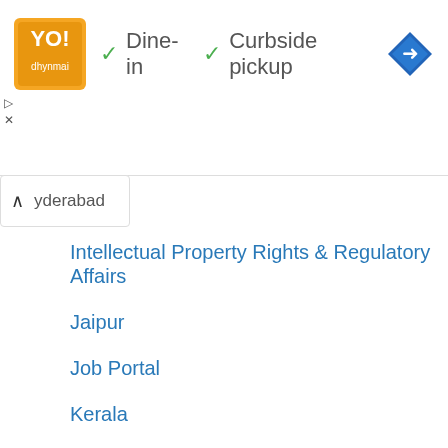[Figure (other): Advertisement banner: logo (orange/yellow square with text), checkmarks for Dine-in and Curbside pickup, blue navigation diamond icon]
hyderabad
Intellectual Property Rights & Regulatory Affairs
Jaipur
Job Portal
Kerala
Lab Experiments
Madhya Pradesh
Medical Representative
Mumbai
NIPER JEE
Paracetamol